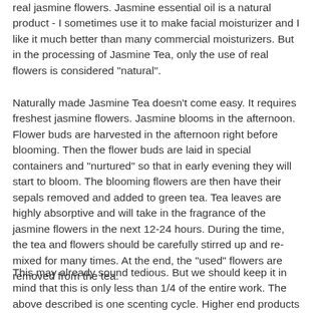real jasmine flowers. Jasmine essential oil is a natural product - I sometimes use it to make facial moisturizer and I like it much better than many commercial moisturizers. But in the processing of Jasmine Tea, only the use of real flowers is considered "natural".
Naturally made Jasmine Tea doesn't come easy. It requires freshest jasmine flowers. Jasmine blooms in the afternoon. Flower buds are harvested in the afternoon right before blooming. Then the flower buds are laid in special containers and "nurtured" so that in early evening they will start to bloom. The blooming flowers are then have their sepals removed and added to green tea. Tea leaves are highly absorptive and will take in the fragrance of the jasmine flowers in the next 12-24 hours. During the time, the tea and flowers should be carefully stirred up and re-mixed for many times. At the end, the "used" flowers are removed from the tea.
This may already sound tedious. But we should keep it in mind that this is only less than 1/4 of the entire work. The above described is one scenting cycle. Higher end products